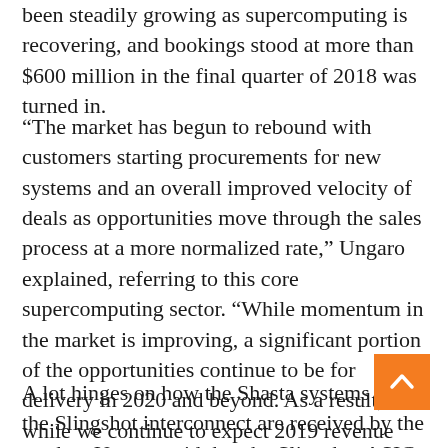been steadily growing as supercomputing is recovering, and bookings stood at more than $600 million in the final quarter of 2018 was turned in.
“The market has begun to rebound with customers starting procurements for new systems and an overall improved velocity of deals as opportunities move through the sales process at a more normalized rate,” Ungaro explained, referring to this core supercomputing sector. “While momentum in the market is improving, a significant portion of the opportunities continue to be for delivery in 2020 and beyond. As a result, while we continue to expect 2019 revenue growth to be modest, it has a potential to be another strong year for bookings.”
A lot hinges on how the Shasta systems and the Slingshot interconnect are received by the market. Ungaro said that the Slingshot ASICs are back from the fab and prototypes are being tested now. Shipments will